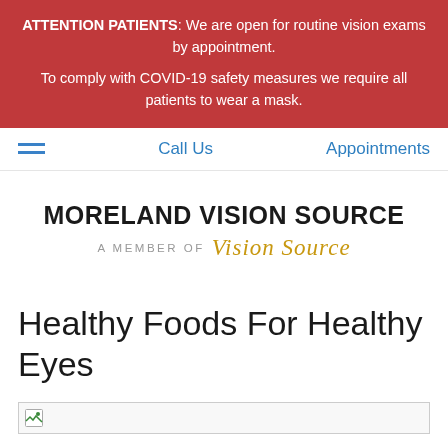ATTENTION PATIENTS: We are open for routine vision exams by appointment. To comply with COVID-19 safety measures we require all patients to wear a mask.
Call Us | Appointments
[Figure (logo): Moreland Vision Source logo — bold dark text reading MORELAND VISION SOURCE, below it A MEMBER OF in grey uppercase with Vision Source in gold cursive script]
Healthy Foods For Healthy Eyes
[Figure (photo): Broken image placeholder at the top of an article image]